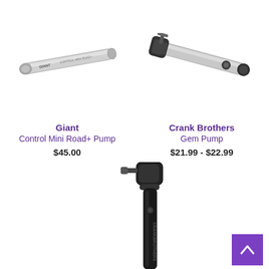[Figure (photo): Silver Giant Control Mini Road+ Pump, pen-like cylindrical shape, diagonal orientation]
[Figure (photo): Silver Crank Brothers Gem Pump with black end caps and bracket, diagonal orientation]
Giant
Control Mini Road+ Pump
$45.00
Crank Brothers
Gem Pump
$21.99 - $22.99
[Figure (photo): Black mini pump, vertical orientation, partially shown from top]